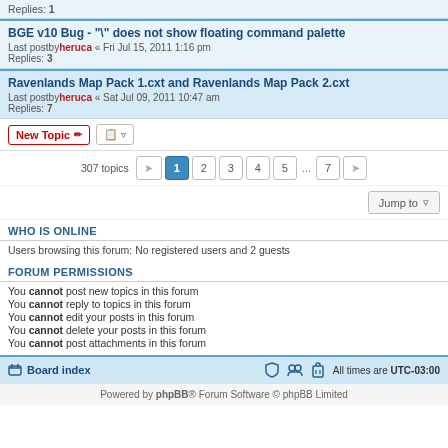Replies: 1
BGE v10 Bug - "\" does not show floating command palette
Last postby heruca « Fri Jul 15, 2011 1:16 pm
Replies: 3
Ravenlands Map Pack 1.cxt and Ravenlands Map Pack 2.cxt
Last postby heruca « Sat Jul 09, 2011 10:47 am
Replies: 7
New Topic | sort | 307 topics | 1 2 3 4 5 ... 7 > | Jump to
WHO IS ONLINE
Users browsing this forum: No registered users and 2 guests
FORUM PERMISSIONS
You cannot post new topics in this forum
You cannot reply to topics in this forum
You cannot edit your posts in this forum
You cannot delete your posts in this forum
You cannot post attachments in this forum
Board index | All times are UTC-03:00
Powered by phpBB® Forum Software © phpBB Limited